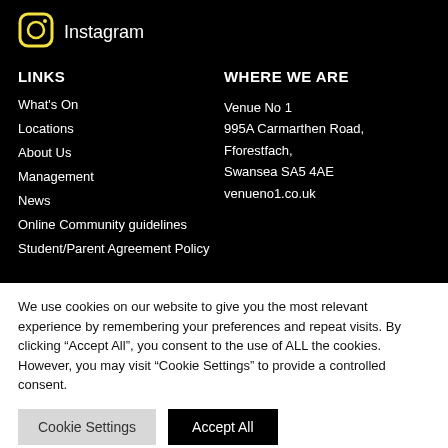[Figure (logo): Instagram icon (yellow outline square with rounded corners and circle inside)]
Instagram
LINKS
WHERE WE ARE
What's On
Locations
About Us
Management
News
Online Community guidelines
Student/Parent Agreement Policy
Venue No 1
995A Carmarthen Road,
Fforestfach,
Swansea SA5 4AE
venueno1.co.uk
We use cookies on our website to give you the most relevant experience by remembering your preferences and repeat visits. By clicking “Accept All”, you consent to the use of ALL the cookies. However, you may visit "Cookie Settings" to provide a controlled consent.
Cookie Settings
Accept All